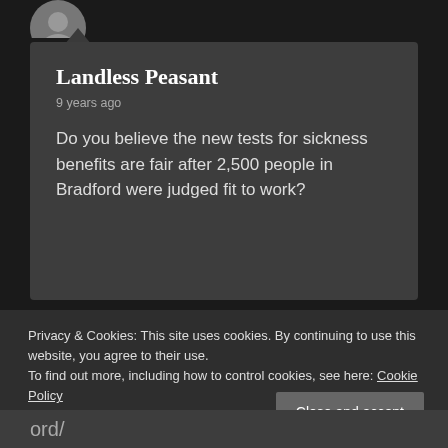[Figure (logo): Circular logo/avatar image at top left]
Landless Peasant
9 years ago
Do you believe the new tests for sickness benefits are fair after 2,500 people in Bradford were judged fit to work?
Privacy & Cookies: This site uses cookies. By continuing to use this website, you agree to their use.
To find out more, including how to control cookies, see here: Cookie Policy
Close and accept
ord/